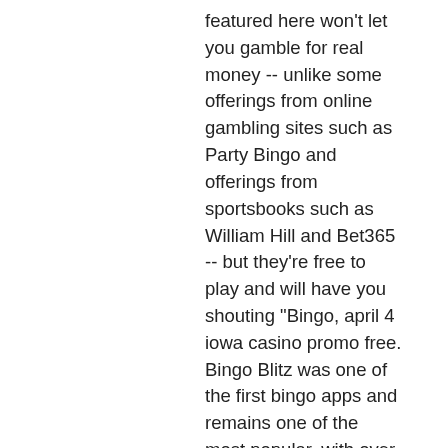featured here won't let you gamble for real money -- unlike some offerings from online gambling sites such as Party Bingo and offerings from sportsbooks such as William Hill and Bet365 -- but they're free to play and will have you shouting "Bingo, april 4 iowa casino promo free. Bingo Blitz was one of the first bingo apps and remains one of the most popular, with over 15 million people giving it a whirl since its debut. It's also where you'll find your Master Control Terminal , if you decided to purchase it. The Diamond Casino Heist can be setup and executed in a variety of different ways, allowing you to choose between Silent & Sneaky , Big Con , or Aggressive, no deposit bonus free play cool cat casino. One of the best tips for new and experienced blackjack players looking for a great online gaming experience is to increase your bankroll by using bonuses strategically. After all, the less